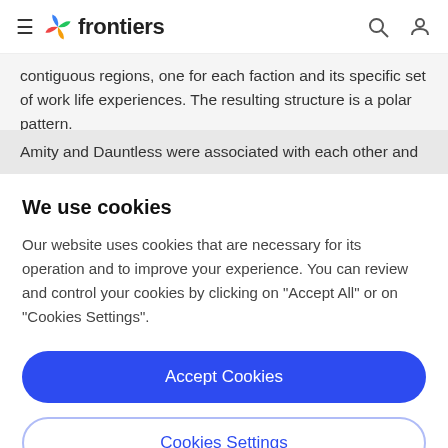frontiers
contiguous regions, one for each faction and its specific set of work life experiences. The resulting structure is a polar pattern.
Amity and Dauntless were associated with each other and
We use cookies
Our website uses cookies that are necessary for its operation and to improve your experience. You can review and control your cookies by clicking on "Accept All" or on "Cookies Settings".
Accept Cookies
Cookies Settings